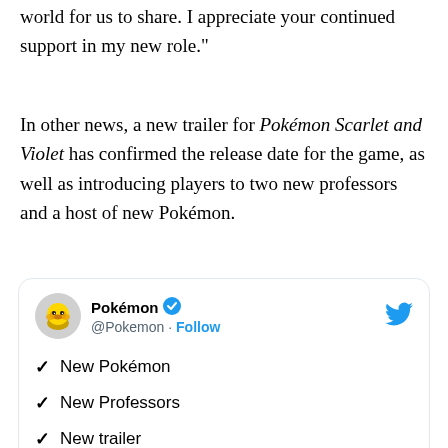world for us to share. I appreciate your continued support in my new role."
In other news, a new trailer for Pokémon Scarlet and Violet has confirmed the release date for the game, as well as introducing players to two new professors and a host of new Pokémon.
[Figure (screenshot): Tweet from @Pokemon account showing a checklist with three items: New Pokémon, New Professors, New trailer. Includes Pikachu avatar and Twitter bird icon.]